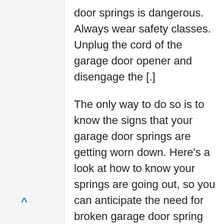door springs is dangerous. Always wear safety classes. Unplug the cord of the garage door opener and disengage the [.]
The only way to do so is to know the signs that your garage door springs are getting worn down. Here’s a look at how to know your springs are going out, so you can anticipate the need for broken garage door spring repair and avoid any sort of emergency situation. Types of Garage Door Springs
The front facade features a mix of stone and glass, with geometric circles of landscaping widening out from the entry door. Inside, tall glass windows. however, is the 19-car garage-that’s about as.